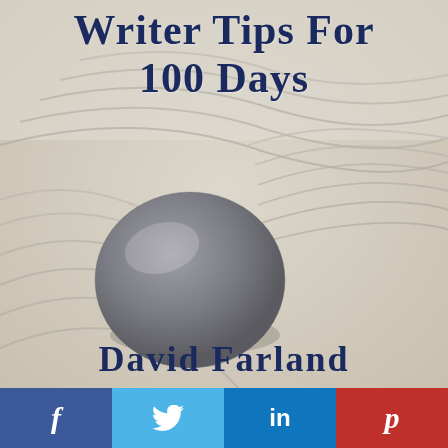[Figure (illustration): Book cover image showing a zen garden with rippling sand patterns and a smooth grey stone in the center, beige/sandy background tones]
Writer Tips for 100 Days
David Farland
[Figure (infographic): Social media sharing bar at the bottom with four buttons: Facebook (dark blue, f), Twitter (light blue, bird icon), LinkedIn (medium blue, in), Pinterest (red, p)]